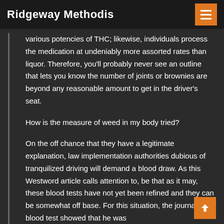Ridgeway Methodis
various potencies of THC; likewise, individuals process the medication at undeniably more assorted rates than liquor. Therefore, you'll probably never see an outline that lets you know the number of joints or brownies are beyond any reasonable amount to get in the driver's seat.
How is the measure of weed in my body tried?
On the off chance that they have a legitimate explanation, law implementation authorities dubious of tranquilized driving will demand a blood draw. As this Westword article calls attention to, be that as it may, these blood tests have not yet been refined and they can be somewhat off base. For this situation, the journalist's blood test showed that he was